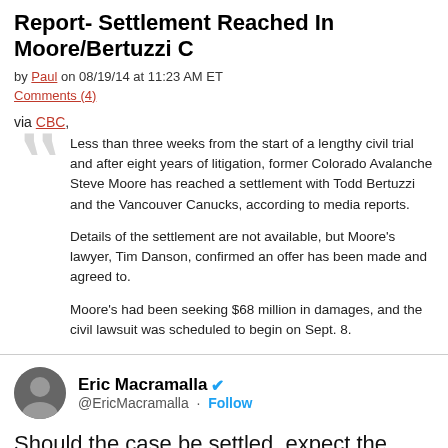Report- Settlement Reached In Moore/Bertuzzi C
by Paul on 08/19/14 at 11:23 AM ET
Comments (4)
via CBC,
Less than three weeks from the start of a lengthy civil trial and after eight years of litigation, former Colorado Avalanche Steve Moore has reached a settlement with Todd Bertuzzi and the Vancouver Canucks, according to media reports.

Details of the settlement are not available, but Moore’s lawyer, Tim Danson, confirmed an offer has been made and agreed to.

Moore’s had been seeking $68 million in damages, and the civil lawsuit was scheduled to begin on Sept. 8.
Eric Macramalla @EricMacramalla · Follow
Should the case be settled, expect the terms of